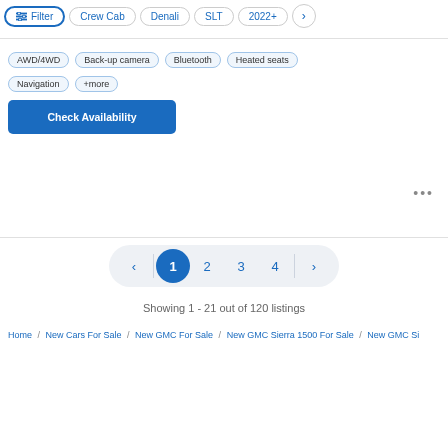Filter | Crew Cab | Denali | SLT | 2022+ | >
AWD/4WD | Back-up camera | Bluetooth | Heated seats | Navigation | +more
Check Availability
...
< | 1 | 2 | 3 | 4 | >
Showing 1 - 21 out of 120 listings
Home / New Cars For Sale / New GMC For Sale / New GMC Sierra 1500 For Sale / New GMC Si